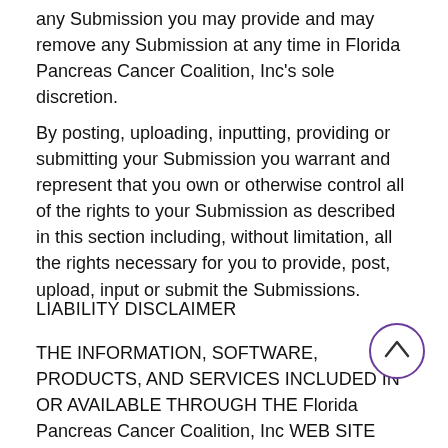any Submission you may provide and may remove any Submission at any time in Florida Pancreas Cancer Coalition, Inc's sole discretion.
By posting, uploading, inputting, providing or submitting your Submission you warrant and represent that you own or otherwise control all of the rights to your Submission as described in this section including, without limitation, all the rights necessary for you to provide, post, upload, input or submit the Submissions.
LIABILITY DISCLAIMER
THE INFORMATION, SOFTWARE, PRODUCTS, AND SERVICES INCLUDED IN OR AVAILABLE THROUGH THE Florida Pancreas Cancer Coalition, Inc WEB SITE MAY INCLUDE INACCURACIES OR TYPOGRAPHICAL ERRORS. CHANGES ARE PERIODICALLY ADDED TO THE